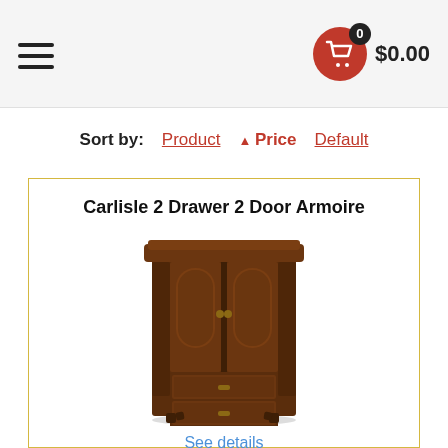Navigation header with hamburger menu and cart showing $0.00
Sort by: Product ▲ Price Default
Carlisle 2 Drawer 2 Door Armoire
[Figure (photo): Carlisle 2 Drawer 2 Door Armoire — a dark walnut wood armoire with two arched panel doors on top and two drawers at the bottom, with curved legs.]
See details
$2135.00